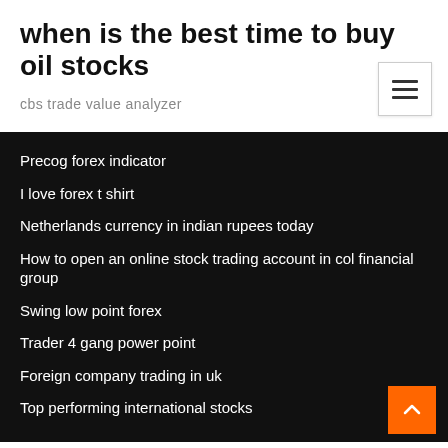when is the best time to buy oil stocks
cbs trade value analyzer
Precog forex indicator
I love forex t shirt
Netherlands currency in indian rupees today
How to open an online stock trading account in col financial group
Swing low point forex
Trader 4 gang power point
Foreign company trading in uk
Top performing international stocks